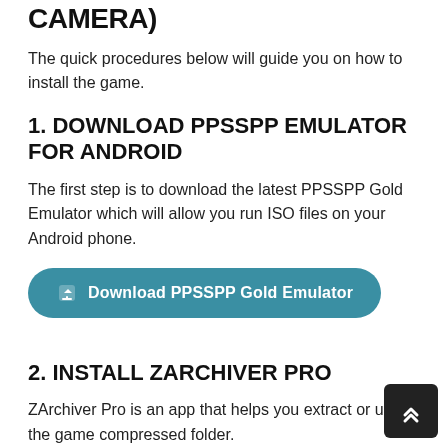CAMERA)
The quick procedures below will guide you on how to install the game.
1. DOWNLOAD PPSSPP EMULATOR FOR ANDROID
The first step is to download the latest PPSSPP Gold Emulator which will allow you run ISO files on your Android phone.
[Figure (other): Download PPSSPP Gold Emulator button]
2. INSTALL ZARCHIVER PRO
ZArchiver Pro is an app that helps you extract or unzip the game compressed folder.
[Figure (other): Download ZArchiver Pro button (partially visible)]